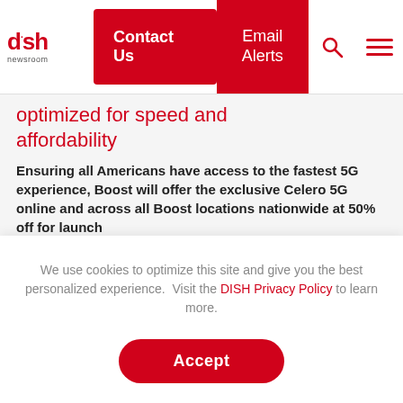dish newsroom | Contact Us | Email Alerts
optimized for speed and affordability
Ensuring all Americans have access to the fastest 5G experience, Boost will offer the exclusive Celero 5G online and across all Boost locations nationwide at 50% off for launch
Boost Mobile, the wireless carrier focused on
We use cookies to optimize this site and give you the best personalized experience.  Visit the DISH Privacy Policy to learn more.
Accept